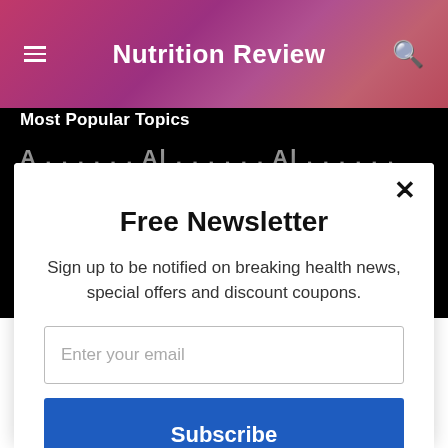Nutrition Review
Most Popular Topics
Free Newsletter
Sign up to be notified on breaking health news, special offers and discount coupons.
Enter your email
Subscribe
powered by MailMunch